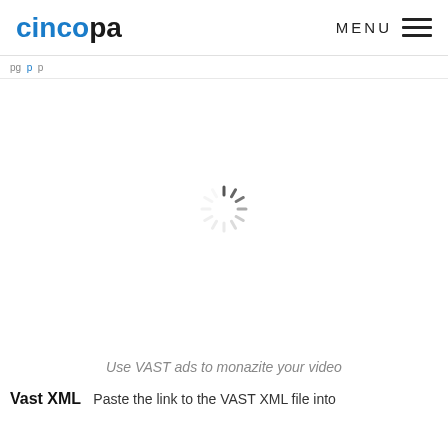cincopa | MENU
pg ... p ...
[Figure (other): Loading spinner (circular dashed spinner icon) centered in white content area]
Use VAST ads to monazite your video
Vast XML
Paste the link to the VAST XML file into